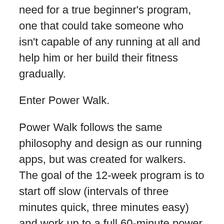need for a true beginner's program, one that could take someone who isn't capable of any running at all and help him or her build their fitness gradually.
Enter Power Walk.
Power Walk follows the same philosophy and design as our running apps, but was created for walkers.  The goal of the 12-week program is to start off slow (intervals of three minutes quick, three minutes easy) and work up to a full 60-minute power walk.
It's perfect if physical limitations prohibit running or if a person's current fitness level just isn't compatible with Ease into 5K.  Consider it a great stand-alone program to get up and moving or even a way to lay a solid fitness foundation before beginning a running program.